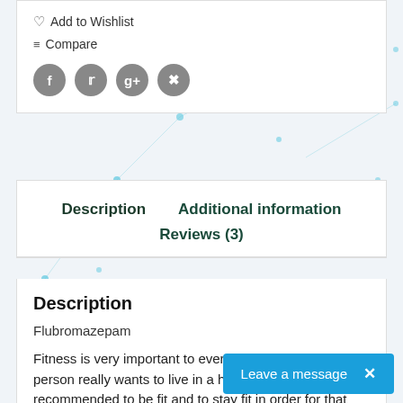♡ Add to Wishlist
≡ Compare
[Figure (other): Social media icon buttons: Facebook, Twitter, Google+, Pinterest]
Description   Additional information   Reviews (3)
Description
Flubromazepam
Fitness is very important to everyone especially if one person really wants to live in a healthy lifestyle, it is recommended to be fit and to stay fit in order for that person's body to move very well and to be nourished at all co...
Leave a message  ✕